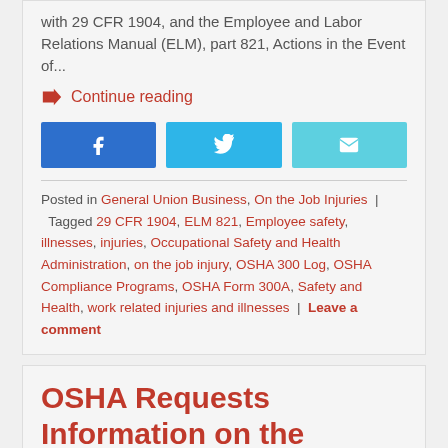with 29 CFR 1904, and the Employee and Labor Relations Manual (ELM), part 821, Actions in the Event of...
Continue reading
[Figure (other): Social share buttons: Facebook, Twitter, Email]
Posted in General Union Business, On the Job Injuries | Tagged 29 CFR 1904, ELM 821, Employee safety, illnesses, injuries, Occupational Safety and Health Administration, on the job injury, OSHA 300 Log, OSHA Compliance Programs, OSHA Form 300A, Safety and Health, work related injuries and illnesses | Leave a comment
OSHA Requests Information on the Powered Industrial Trucks Standard